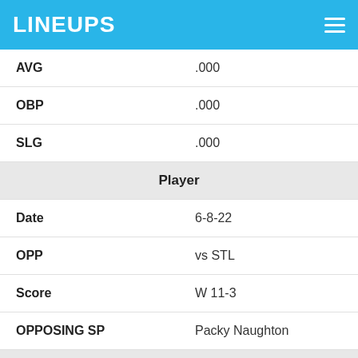LINEUPS
| AVG | .000 |
| OBP | .000 |
| SLG | .000 |
| Player |  |
| Date | 6-8-22 |
| OPP | vs STL |
| Score | W 11-3 |
| OPPOSING SP | Packy Naughton |
| Fantasy Points |  |
| FPTS | 9.7 |
| FPTS/AB | 3.2 |
| Offense |  |
| PA | 5 |